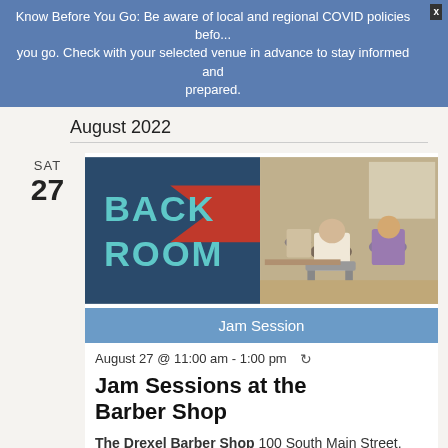Know Before You Go: Be aware of local and regional COVID policies before you go. Check with your selected venue in advance to stay informed and prepared.
August 2022
SAT
27
[Figure (photo): Photo of a venue called 'Back Room' — left half shows dark blue wall with 'BACK ROOM' text in large teal letters and a red chevron; right half shows elderly people seated in a room.]
Jam Session
August 27 @ 11:00 am - 1:00 pm ↺
Jam Sessions at the Barber Shop
The Drexel Barber Shop 100 South Main Street, Drexel, NC